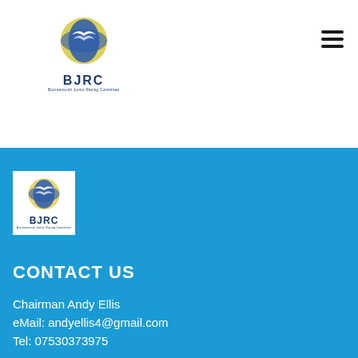[Figure (logo): BJRC logo with globe/circle graphic and text 'BJRC' with subtitle in header]
[Figure (illustration): Hamburger menu icon (three horizontal lines) in top right corner]
[Figure (logo): BJRC logo repeated in the blue footer section]
CONTACT US
Chairman Andy Ellis
eMail: andyellis4@gmail.com
Tel: 07530373975